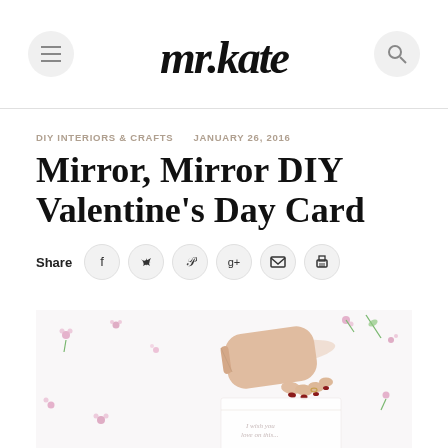mr.kate — navigation header with menu and search
DIY INTERIORS & CRAFTS   JANUARY 26, 2016
Mirror, Mirror DIY Valentine's Day Card
Share [facebook] [twitter] [pinterest] [google+] [email] [print]
[Figure (photo): A hand with red nail polish resting on a white card/envelope surrounded by small pink flowers and green sprigs on a white background]